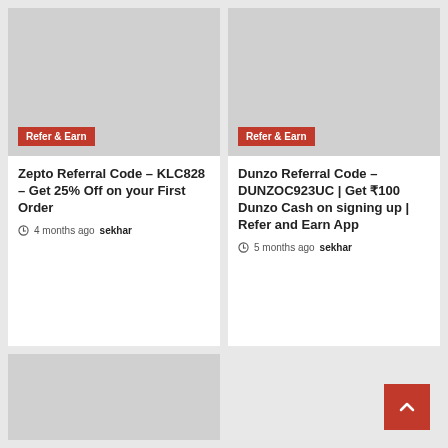[Figure (screenshot): Card with 'Refer & Earn' badge - Zepto Referral Code image placeholder (gray)]
Zepto Referral Code – KLC828 – Get 25% Off on your First Order
4 months ago  sekhar
[Figure (screenshot): Card with 'Refer & Earn' badge - Dunzo Referral Code image placeholder (gray)]
Dunzo Referral Code – DUNZOC923UC | Get ₹100 Dunzo Cash on signing up | Refer and Earn App
5 months ago  sekhar
[Figure (screenshot): Third card image placeholder (gray), partially visible at bottom left]